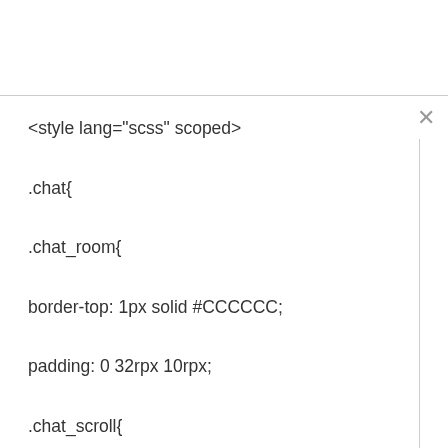<style lang="scss" scoped>

.chat{

.chat_room{

border-top: 1px solid #CCCCCC;

padding: 0 32rpx 10rpx;

.chat_scroll{

height:calc(100vh – 352rpx – var(–window-bottom));  // Look at yourself to reduce